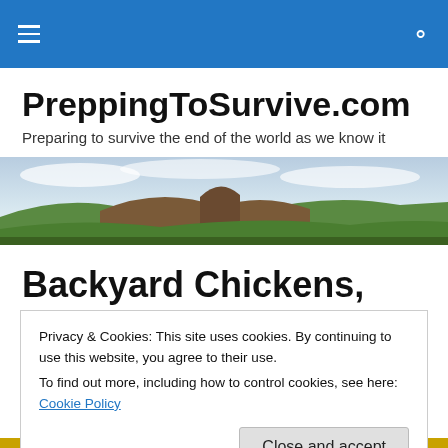PreppingToSurvive.com — navigation bar with hamburger menu and search icon
PreppingToSurvive.com
Preparing to survive the end of the world as we know it
[Figure (photo): Panoramic landscape photo of green rolling hills and mountains under a cloudy sky]
Backyard Chickens, Part 9 (or
Privacy & Cookies: This site uses cookies. By continuing to use this website, you agree to their use.
To find out more, including how to control cookies, see here: Cookie Policy
Close and accept